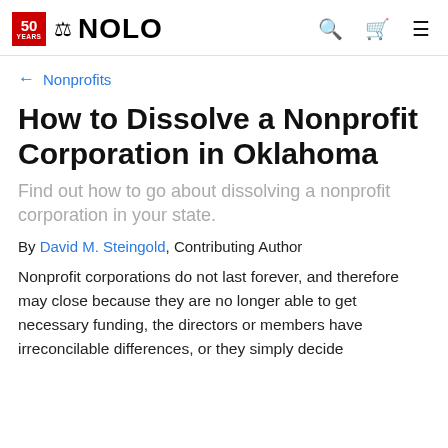50 YEARS | NOLO | [search] [cart] [menu]
← Nonprofits
How to Dissolve a Nonprofit Corporation in Oklahoma
Find out how to go about dissolving a nonprofit corporation in your state.
By David M. Steingold, Contributing Author
Nonprofit corporations do not last forever, and therefore may close because they are no longer able to get necessary funding, the directors or members have irreconcilable differences, or they simply decide that it is not its to be done anymore.